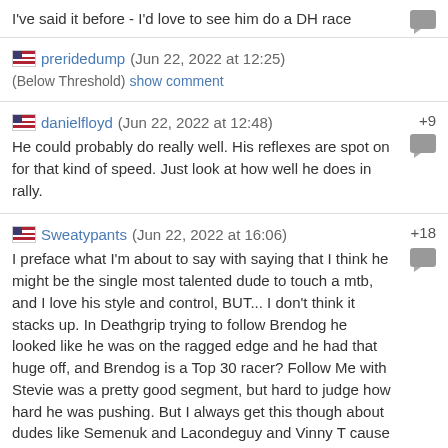I've said it before - I'd love to see him do a DH race
preridedump (Jun 22, 2022 at 12:25) (Below Threshold) show comment
danielfloyd (Jun 22, 2022 at 12:48) +9
He could probably do really well. His reflexes are spot on for that kind of speed. Just look at how well he does in rally.
Sweatypants (Jun 22, 2022 at 16:06) +18
I preface what I'm about to say with saying that I think he might be the single most talented dude to touch a mtb, and I love his style and control, BUT... I don't think it stacks up. In Deathgrip trying to follow Brendog he looked like he was on the ragged edge and he had that huge off, and Brendog is a Top 30 racer? Follow Me with Stevie was a pretty good segment, but hard to judge how hard he was pushing. But I always get this though about dudes like Semenuk and Lacondeguy and Vinny T cause they always look fast as shit and have amazing control, but I dunno that it would translate to an ACTUAL race time. Flip side, Gee Atherton in his prime getting that 2nd at Rampage without any tricks, but his speed was naked eye faster than anyone else